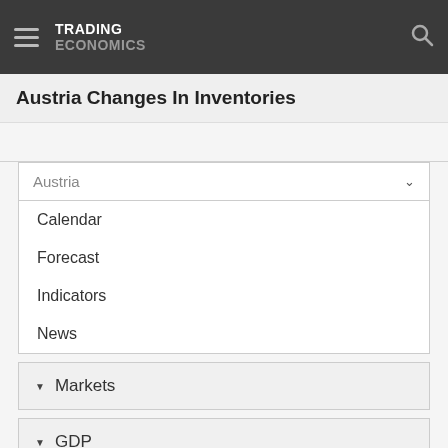TRADING ECONOMICS
Austria Changes In Inventories
Austria
Calendar
Forecast
Indicators
News
Markets
GDP
Labour